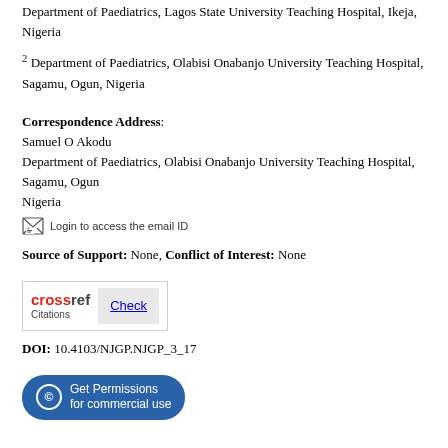Department of Paediatrics, Lagos State University Teaching Hospital, Ikeja, Nigeria
2 Department of Paediatrics, Olabisi Onabanjo University Teaching Hospital, Sagamu, Ogun, Nigeria
Correspondence Address: Samuel O Akodu
Department of Paediatrics, Olabisi Onabanjo University Teaching Hospital, Sagamu, Ogun
Nigeria
[Figure (other): Email icon with text: Login to access the email ID]
Source of Support: None, Conflict of Interest: None
[Figure (other): CrossRef Citations badge with Check link button]
DOI: 10.4103/NJGP.NJGP_3_17
[Figure (other): Get Permissions for commercial use button]